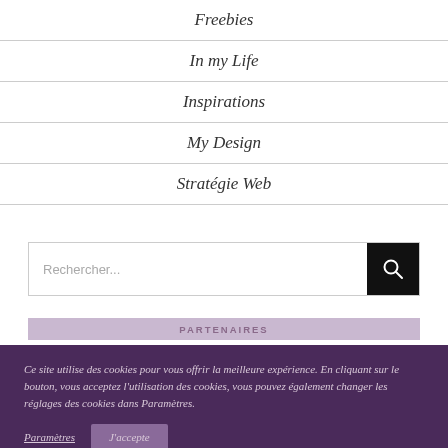Freebies
In my Life
Inspirations
My Design
Stratégie Web
Rechercher...
PARTENAIRES
Ce site utilise des cookies pour vous offrir la meilleure expérience. En cliquant sur le bouton, vous acceptez l'utilisation des cookies, vous pouvez également changer les réglages des cookies dans Paramètres.
Paramètres
J'accepte